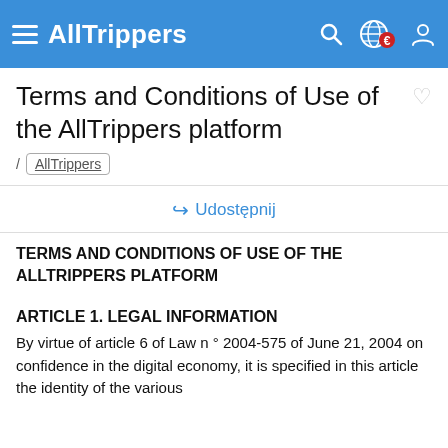AllTrippers
Terms and Conditions of Use of the AllTrippers platform
/ AllTrippers
Udostępnij
TERMS AND CONDITIONS OF USE OF THE ALLTRIPPERS PLATFORM
ARTICLE 1. LEGAL INFORMATION
By virtue of article 6 of Law n ° 2004-575 of June 21, 2004 on confidence in the digital economy, it is specified in this article the identity of the various